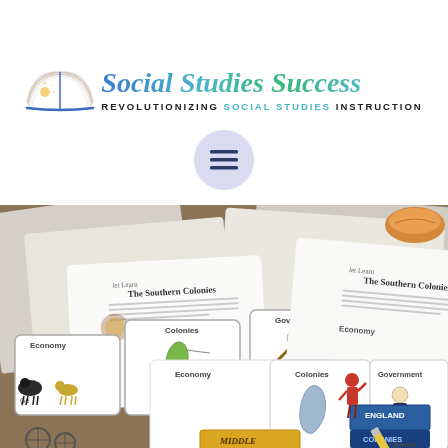[Figure (logo): Social Studies Success logo with open book illustration and text 'Social Studies Success' in stylized script above 'REVOLUTIONIZING SOCIAL STUDIES INSTRUCTION' in uppercase]
[Figure (illustration): Hamburger menu icon (three horizontal lines) inside a lavender/light purple circle]
[Figure (photo): Photograph of educational worksheets about The Southern Colonies and The Middle Colonies spread on a surface, showing graphic organizers with sections for Economy, Colonies, Government, and Climate, with illustrations of colonial figures, maps, and a pencil visible]